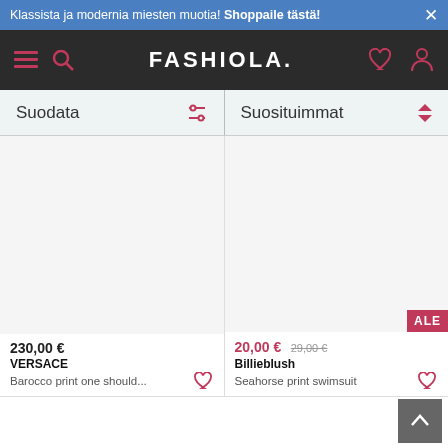Klassista ja modernia miesten muotia! Shoppaile tästä! ×
[Figure (screenshot): Fashiola website navigation bar with hamburger menu, search icon, FASHIOLA. logo, heart icon and user icon on dark background]
Suodata | Suosituimmat
[Figure (photo): Product image area for Versace item (white/blank area)]
230,00 €
VERSACE
Barocco print one should...
[Figure (photo): Product image area for Billieblush item with ALE badge]
20,00 € 29,00 €
Billieblush
Seahorse print swimsuit